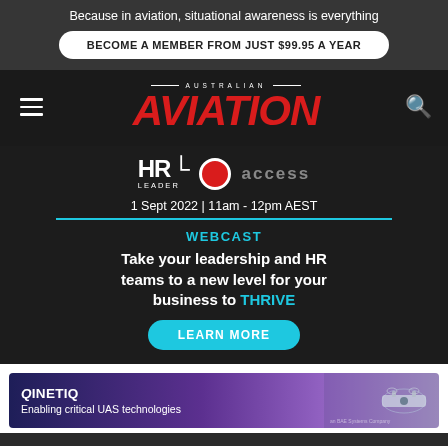Because in aviation, situational awareness is everything
BECOME A MEMBER FROM JUST $99.95 A YEAR
[Figure (logo): Australian Aviation magazine logo with red italic AVIATION text]
[Figure (infographic): HR Leader / access webcast advertisement. Date: 1 Sept 2022 | 11am - 12pm AEST. Headline: Take your leadership and HR teams to a new level for your business to THRIVE. LEARN MORE button.]
[Figure (infographic): QinetiQ advertisement with purple gradient background and drone imagery. Text: Enabling critical UAS technologies.]